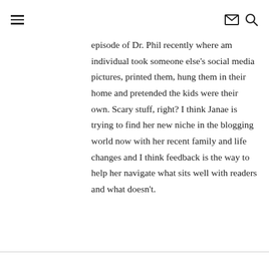[hamburger menu icon] [envelope icon] [search icon]
episode of Dr. Phil recently where am individual took someone else's social media pictures, printed them, hung them in their home and pretended the kids were their own. Scary stuff, right? I think Janae is trying to find her new niche in the blogging world now with her recent family and life changes and I think feedback is the way to help her navigate what sits well with readers and what doesn't.